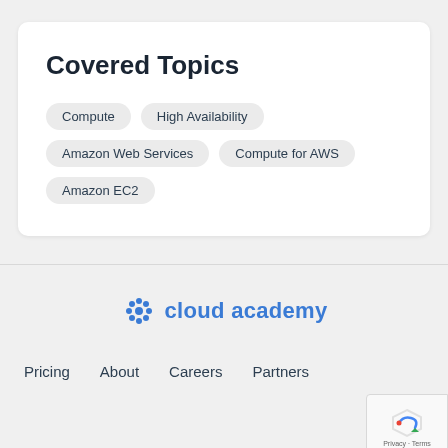Covered Topics
Compute
High Availability
Amazon Web Services
Compute for AWS
Amazon EC2
[Figure (logo): Cloud Academy logo with blue snowflake/flower icon and 'cloud academy' text in blue]
Pricing   About   Careers   Partners